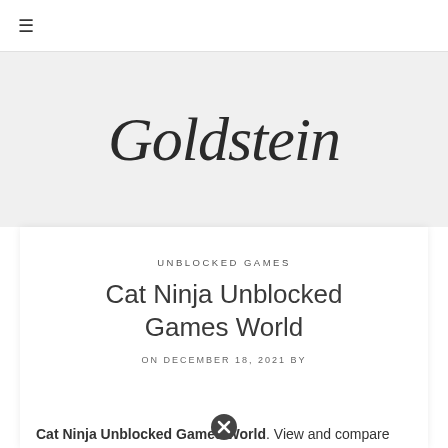☰
[Figure (logo): Goldstein script logo in cursive/italic serif font on light gray background]
UNBLOCKED GAMES
Cat Ninja Unblocked Games World
ON DECEMBER 18, 2021 BY
Cat Ninja Unblocked Games World. View and compare